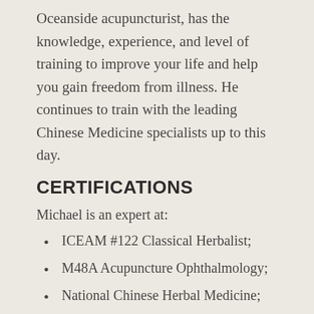Oceanside acupuncturist, has the knowledge, experience, and level of training to improve your life and help you gain freedom from illness. He continues to train with the leading Chinese Medicine specialists up to this day.
CERTIFICATIONS
Michael is an expert at:
ICEAM #122 Classical Herbalist;
M48A Acupuncture Ophthalmology;
National Chinese Herbal Medicine;
Active Release Techniques (ART), SFMA, FMS;
Spine Technician in Pettibon Posture and